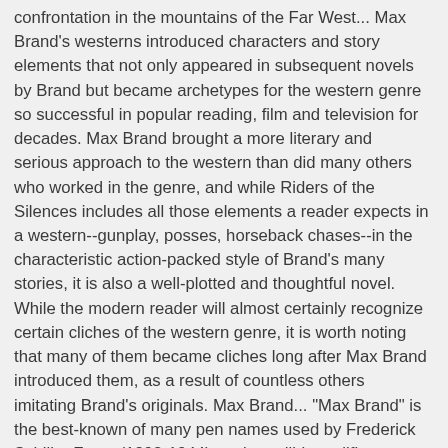confrontation in the mountains of the Far West... Max Brand's westerns introduced characters and story elements that not only appeared in subsequent novels by Brand but became archetypes for the western genre so successful in popular reading, film and television for decades. Max Brand brought a more literary and serious approach to the western than did many others who worked in the genre, and while Riders of the Silences includes all those elements a reader expects in a western--gunplay, posses, horseback chases--in the characteristic action-packed style of Brand's many stories, it is also a well-plotted and thoughtful novel. While the modern reader will almost certainly recognize certain cliches of the western genre, it is worth noting that many of them became cliches long after Max Brand introduced them, as a result of countless others imitating Brand's originals. Max Brand... "Max Brand" is the best-known of many pen names used by Frederick Schiller Faust (1892-1944), an incredibly prolific American author known today primarily for his many western novels and as the creator of the cowboy-hero "Destry" and the character "Dr. Kildare." Born in Seattle, his parents both died while Faust was still a boy and he grew up with relatives in central California, eventually working for a time as a cowhand